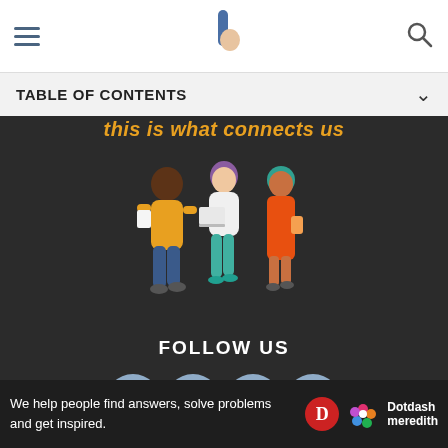TABLE OF CONTENTS
[Figure (illustration): Three illustrated women standing and talking: one in yellow sweater with dark skin holding papers, one in white top and teal pants with purple hair holding a laptop, one in orange dress with teal hair holding a cup]
FOLLOW US
[Figure (infographic): Four social media icon circles (blue-gray): Facebook, Twitter, Instagram, LinkedIn]
ABOUT US   TERMS OF USE
We help people find answers, solve problems and get inspired.
[Figure (logo): Dotdash Meredith logo with red D circle and colorful flower icon]